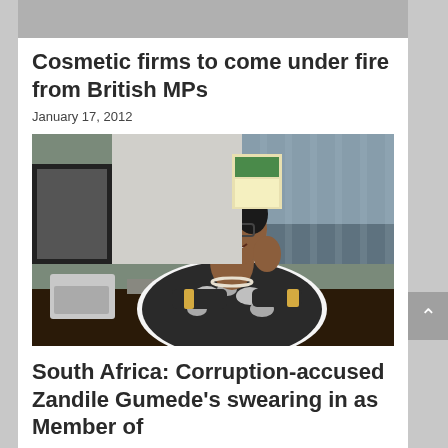[Figure (photo): Gray placeholder image at top of page]
Cosmetic firms to come under fire from British MPs
January 17, 2012
[Figure (photo): Woman sitting at a desk in an office, smiling, wearing glasses and a black and white patterned jacket with a pearl necklace]
South Africa: Corruption-accused Zandile Gumede’s swearing in as Member of